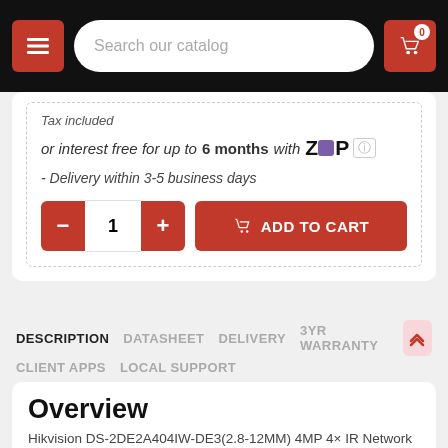Search our catalog
Tax included
or interest free for up to 6 months with Zip
- Delivery within 3-5 business days
1 ADD TO CART
DESCRIPTION  DATASHEET  DELIVERY  3YR WARRANTY  CLIENT APPS  LOCAL SUPPORT
Overview
Hikvision DS-2DE2A404IW-DE3(2.8-12MM) 4MP 4x IR Network PTZ Camera can be widely used in multiple scenes, such as the corridor